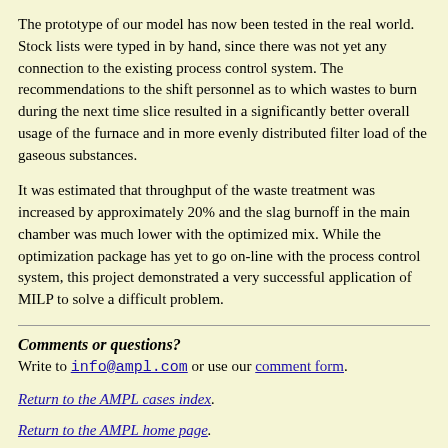The prototype of our model has now been tested in the real world. Stock lists were typed in by hand, since there was not yet any connection to the existing process control system. The recommendations to the shift personnel as to which wastes to burn during the next time slice resulted in a significantly better overall usage of the furnace and in more evenly distributed filter load of the gaseous substances.
It was estimated that throughput of the waste treatment was increased by approximately 20% and the slag burnoff in the main chamber was much lower with the optimized mix. While the optimization package has yet to go on-line with the process control system, this project demonstrated a very successful application of MILP to solve a difficult problem.
Comments or questions?
Write to info@ampl.com or use our comment form.
Return to the AMPL cases index.
Return to the AMPL home page.
LAST MODIFIED 15 NOVEMBER 1997 BY 4er.